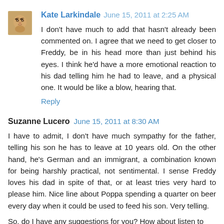[Figure (photo): Small avatar photo of Kate Larkindale, a brown/tan colored image showing a face with sunglasses]
Kate Larkindale  June 15, 2011 at 2:25 AM
I don't have much to add that hasn't already been commented on. I agree that we need to get closer to Freddy, be in his head more than just behind his eyes. I think he'd have a more emotional reaction to his dad telling him he had to leave, and a physical one. It would be like a blow, hearing that.
Reply
Suzanne Lucero  June 15, 2011 at 8:30 AM
I have to admit, I don't have much sympathy for the father, telling his son he has to leave at 10 years old. On the other hand, he's German and an immigrant, a combination known for being harshly practical, not sentimental. I sense Freddy loves his dad in spite of that, or at least tries very hard to please him. Nice line about Poppa spending a quarter on beer every day when it could be used to feed his son. Very telling.
So, do I have any suggestions for you? How about listen to